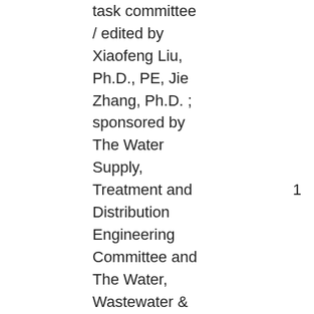task committee / edited by Xiaofeng Liu, Ph.D., PE, Jie Zhang, Ph.D. ; sponsored by The Water Supply, Treatment and Distribution Engineering Committee and The Water, Wastewater & Stormwater Council of The Environmental and Water Resources
1